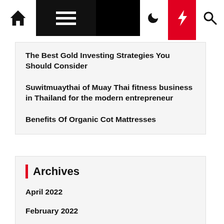Navigation bar with home, menu, moon, bolt, search icons
The Best Gold Investing Strategies You Should Consider
Suwitmuaythai of Muay Thai fitness business in Thailand for the modern entrepreneur
Benefits Of Organic Cot Mattresses
Archives
April 2022
February 2022
January 2022